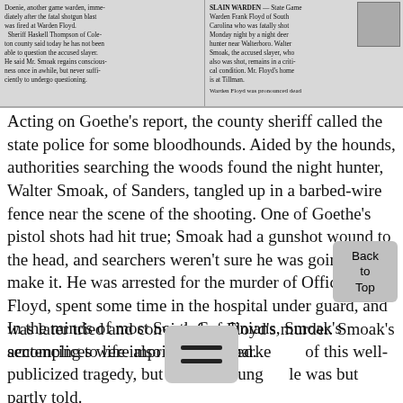[Figure (photo): Newspaper clipping with two columns. Left column text about Sheriff Haskell Thompson and Walter Smoak. Right column has headline 'SLAIN WARDEN' about State Game Warden Frank Floyd of South Carolina who was fatally shot Monday night by a night deer hunter near Walterboro. A small photo of the warden is in the upper right corner.]
Acting on Goethe's report, the county sheriff called the state police for some bloodhounds. Aided by the hounds, authorities searching the woods found the night hunter, Walter Smoak, of Sanders, tangled up in a barbed-wire fence near the scene of the shooting. One of Goethe's pistol shots had hit true; Smoak had a gunshot wound to the head, and searchers weren't sure he was going to make it. He was arrested for the murder of Officer Floyd, spent some time in the hospital under guard, and was later tried and convicted of Floyd's murder. Smoak's accomplices were also apprehended.
In the minds of most South Carolinians, Smoak's sentencing to life imprisonment marke of this well-publicized tragedy, but for one young le was but partly told.